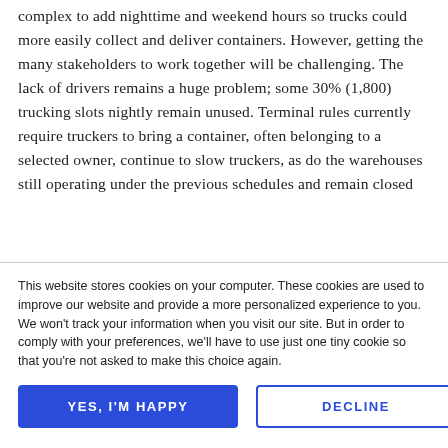complex to add nighttime and weekend hours so trucks could more easily collect and deliver containers. However, getting the many stakeholders to work together will be challenging. The lack of drivers remains a huge problem; some 30% (1,800) trucking slots nightly remain unused. Terminal rules currently require truckers to bring a container, often belonging to a selected owner, continue to slow truckers, as do the warehouses still operating under the previous schedules and remain closed
This website stores cookies on your computer. These cookies are used to improve our website and provide a more personalized experience to you. We won't track your information when you visit our site. But in order to comply with your preferences, we'll have to use just one tiny cookie so that you're not asked to make this choice again.